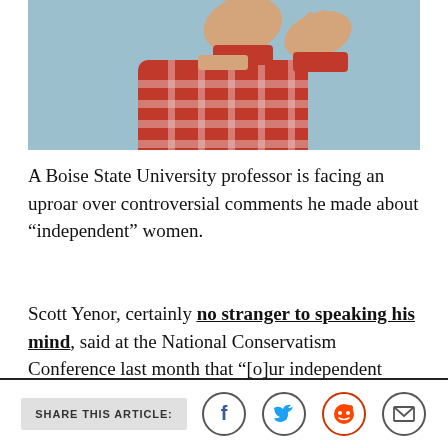[Figure (photo): A person in a red and white plaid shirt with hands raised in a 'stop' gesture against a blue-grey background.]
A Boise State University professor is facing an uproar over controversial comments he made about “independent” women.
Scott Yenor, certainly no stranger to speaking his mind, said at the National Conservatism Conference last month that “[o]ur independent women seek their purpose in life in midlevel
SHARE THIS ARTICLE: